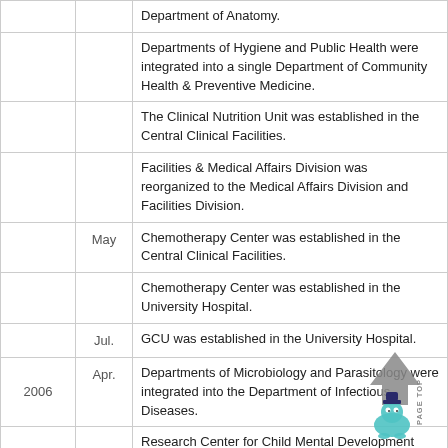| Year | Month | Description |
| --- | --- | --- |
|  |  | Department of Anatomy. |
|  |  | Departments of Hygiene and Public Health were integrated into a single Department of Community Health & Preventive Medicine. |
|  |  | The Clinical Nutrition Unit was established in the Central Clinical Facilities. |
|  |  | Facilities & Medical Affairs Division was reorganized to the Medical Affairs Division and Facilities Division. |
|  | May | Chemotherapy Center was established in the Central Clinical Facilities. |
|  |  | Chemotherapy Center was established in the University Hospital. |
|  | Jul. | GCU was established in the University Hospital. |
| 2006 | Apr. | Departments of Microbiology and Parasitology were integrated into the Department of Infectious Diseases. |
|  |  | Research Center for Child Mental Development was established. |
|  |  | Psychosomatic Medicine was established in the University Hospital. |
|  |  | Outpatient Clinics was established in the Central Clinical Facilities. |
|  | Jul. | Audit office was established. |
|  |  | Research Cooperation Office was established in General Affairs Division in Administration Bureau. |
|  | Oct. | Clinical Care Departments of Clinical Pharmacology & Therapeutics. |